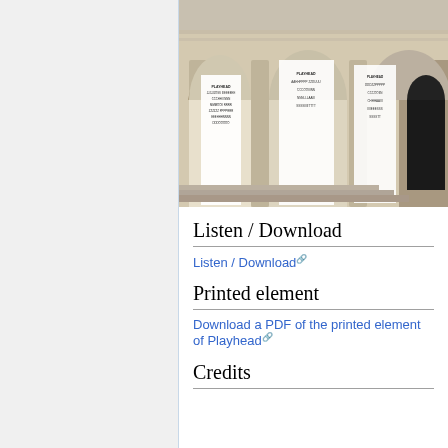[Figure (photo): Exterior of a classical stone building with arched windows/columns, featuring large vertical banners/posters with typographic text.]
Listen / Download
Listen / Download [external link]
Printed element
Download a PDF of the printed element of Playhead [external link]
Credits